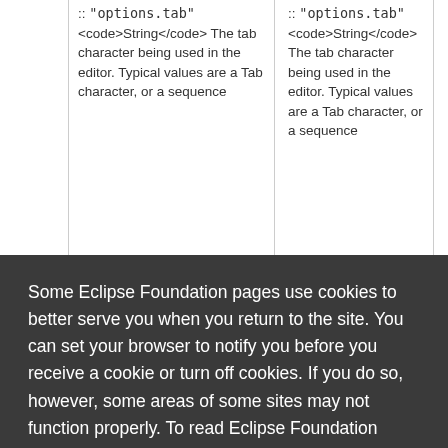:: "options.tab" <code>String</code> The tab character being used in the editor. Typical values are a Tab character, or a sequence
:: "options.tab" <code>String</code> The tab character being used in the editor. Typical values are a Tab character, or a sequence
Some Eclipse Foundation pages use cookies to better serve you when you return to the site. You can set your browser to notify you before you receive a cookie or turn off cookies. If you do so, however, some areas of some sites may not function properly. To read Eclipse Foundation Privacy Policy click here.
Decline
Allow cookies
bject|Editor Context